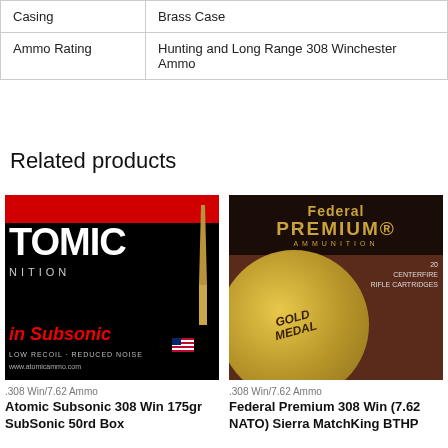| Casing | Brass Case |
| Ammo Rating | Hunting and Long Range 308 Winchester Ammo |
Related products
[Figure (photo): Atomic Subsonic ammunition box (black with red top, white ATOMIC branding) with a rifle bullet in front]
.308 Win/7.62 Ammo
Atomic Subsonic 308 Win 175gr SubSonic 50rd Box
[Figure (photo): Federal Premium Gold Medal ammunition box (dark brown/black with gold medal imagery) for 20 centerfire rifle cartridges]
.308 Win/7.62 Ammo
Federal Premium 308 Win (7.62 NATO) Sierra MatchKing BTHP